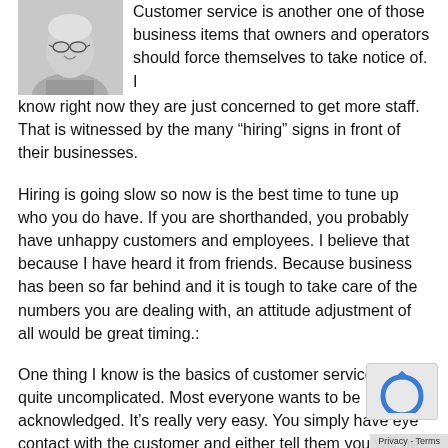[Figure (photo): Black and white photo of an older woman with glasses, top-left corner of the page]
Customer service is another one of those business items that owners and operators should force themselves to take notice of. I know right now they are just concerned to get more staff. That is witnessed by the many “hiring” signs in front of their businesses.
Hiring is going slow so now is the best time to tune up who you do have. If you are shorthanded, you probably have unhappy customers and employees. I believe that because I have heard it from friends. Because business has been so far behind and it is tough to take care of the numbers you are dealing with, an attitude adjustment of all would be great timing.:
One thing I know is the basics of customer service are quite uncomplicated. Most everyone wants to be acknowledged. It’s really very easy. You simply have eye contact with the customer and either tell them you will be right with them, or you signal them with your index finger held up, most people understand that as “just a minute”. I can’t tell you how much grief that can save in customer service by just giving that little